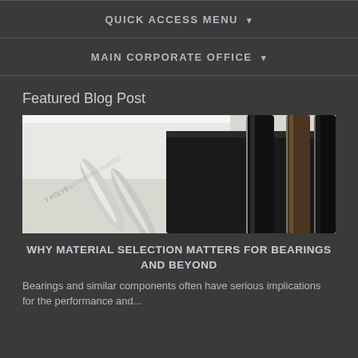QUICK ACCESS MENU ▾
MAIN CORPORATE OFFICE ▾
Featured Blog Post
[Figure (photo): Close-up photo of various plastic rods and sheets including white and black engineering plastic materials, labeled with text suggesting engineering polymers.]
WHY MATERIAL SELECTION MATTERS FOR BEARINGS AND BEYOND
Bearings and similar components often have serious implications for the performance and...